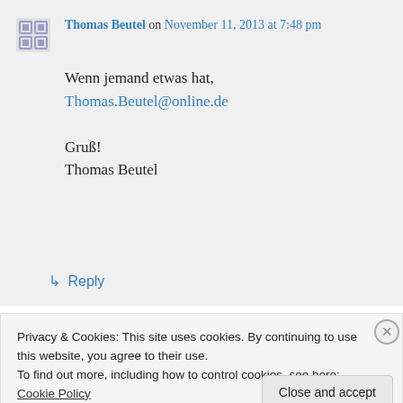Thomas Beutel on November 11, 2013 at 7:48 pm
Wenn jemand etwas hat,
Thomas.Beutel@online.de

Gruß!
Thomas Beutel
↳ Reply
Privacy & Cookies: This site uses cookies. By continuing to use this website, you agree to their use.
To find out more, including how to control cookies, see here: Cookie Policy
Close and accept